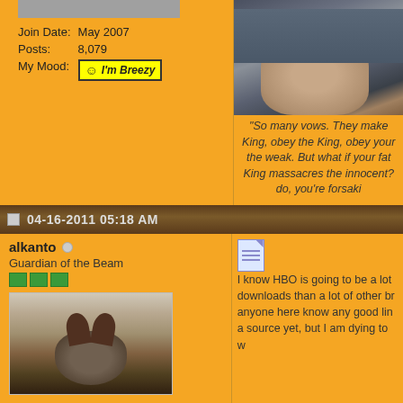Join Date: May 2007
Posts: 8,079
My Mood: I'm Breezy
[Figure (photo): Close-up photo of a man's face/chin area]
"So many vows. They make you obey the King, obey the King, obey your father, protect the weak. But what if your father massacres the innocent? King massacres the innocent? What would you do, you're forsaking..."
04-16-2011 05:18 AM
alkanto
Guardian of the Beam
[Figure (photo): Photo of a dog (wolf-like) lying on the ground with its chin down]
I know HBO is going to be a lot stricter about downloads than a lot of other broadcasters. Does anyone here know any good links? I haven't found a source yet, but I am dying to w...
Join Date: Jun 2010